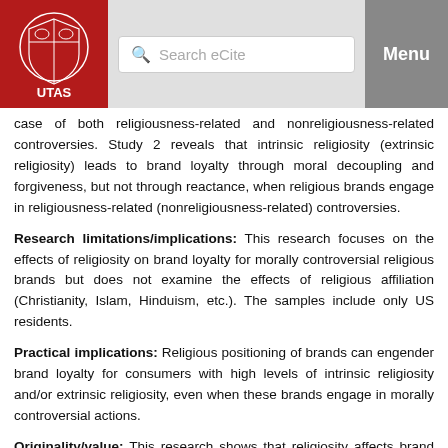UTAS — Search eCite — Menu
case of both religiousness-related and nonreligiousness-related controversies. Study 2 reveals that intrinsic religiosity (extrinsic religiosity) leads to brand loyalty through moral decoupling and forgiveness, but not through reactance, when religious brands engage in religiousness-related (nonreligiousness-related) controversies.
Research limitations/implications: This research focuses on the effects of religiosity on brand loyalty for morally controversial religious brands but does not examine the effects of religious affiliation (Christianity, Islam, Hinduism, etc.). The samples include only US residents.
Practical implications: Religious positioning of brands can engender brand loyalty for consumers with high levels of intrinsic religiosity and/or extrinsic religiosity, even when these brands engage in morally controversial actions.
Originality/value: This research shows that religiosity affects brand loyalty for morally controversial religious brands and demonstrates that psychological processes used by